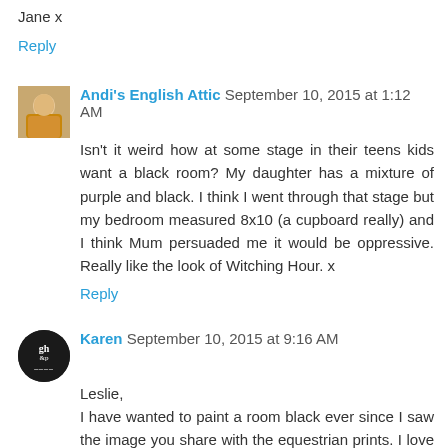Jane x
Reply
Andi's English Attic  September 10, 2015 at 1:12 AM
Isn't it weird how at some stage in their teens kids want a black room? My daughter has a mixture of purple and black. I think I went through that stage but my bedroom measured 8x10 (a cupboard really) and I think Mum persuaded me it would be oppressive. Really like the look of Witching Hour. x
Reply
Karen  September 10, 2015 at 9:16 AM
Leslie,
I have wanted to paint a room black ever since I saw the image you share with the equestrian prints. I love the Witches Brew for it's blue undertones. I think it's going to look amazing.